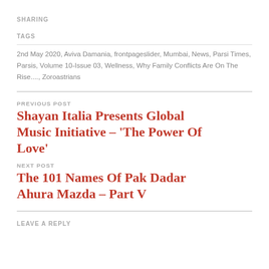SHARING
TAGS
2nd May 2020, Aviva Damania, frontpageslider, Mumbai, News, Parsi Times, Parsis, Volume 10-Issue 03, Wellness, Why Family Conflicts Are On The Rise...., Zoroastrians
PREVIOUS POST
Shayan Italia Presents Global Music Initiative – ‘The Power Of Love’
NEXT POST
The 101 Names Of Pak Dadar Ahura Mazda – Part V
LEAVE A REPLY